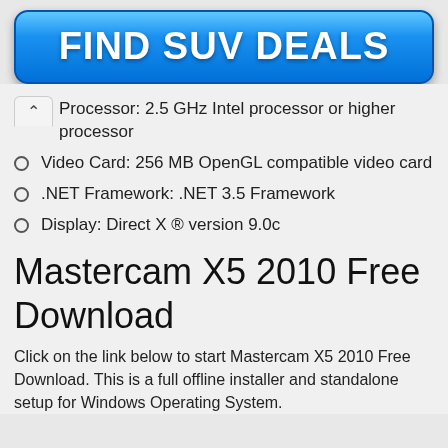[Figure (other): Blue button/banner with text FIND SUV DEALS]
Processor: 2.5 GHz Intel processor or higher processor
Video Card: 256 MB OpenGL compatible video card
.NET Framework: .NET 3.5 Framework
Display: Direct X ® version 9.0c
Mastercam X5 2010 Free Download
Click on the link below to start Mastercam X5 2010 Free Download. This is a full offline installer and standalone setup for Windows Operating System.